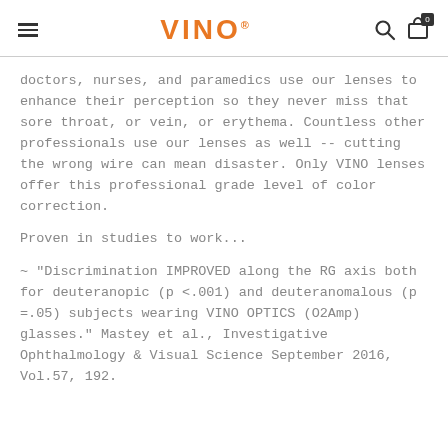VINO®
doctors, nurses, and paramedics use our lenses to enhance their perception so they never miss that sore throat, or vein, or erythema. Countless other professionals use our lenses as well -- cutting the wrong wire can mean disaster. Only VINO lenses offer this professional grade level of color correction.
Proven in studies to work...
~ "Discrimination IMPROVED along the RG axis both for deuteranopic (p <.001) and deuteranomalous (p =.05) subjects wearing VINO OPTICS (O2Amp) glasses." Mastey et al., Investigative Ophthalmology & Visual Science September 2016, Vol.57, 192.